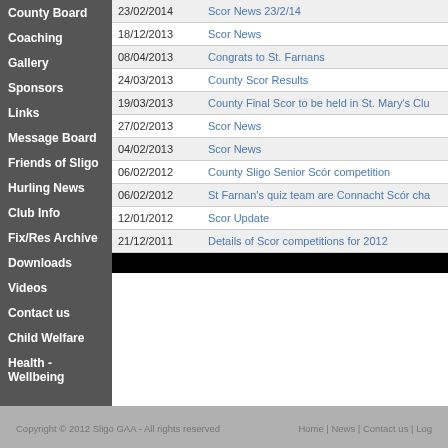County Board
Coaching
Gallery
Sponsors
Links
Message Board
Friends of Sligo
Hurling News
Club Info
Fix/Res Archive
Downloads
Videos
Contact us
Child Welfare
Health - Wellbeing
| Date | Title |
| --- | --- |
| 23/02/2014 | Scor News 23/2/14 |
| 18/12/2013 | Scor News |
| 08/04/2013 | Congrats to St. Farnans |
| 24/03/2013 | County Scor Results |
| 19/03/2013 | County Final Scor to be held in St. Mary's Clu... |
| 27/02/2013 | Scor News |
| 04/02/2013 | Scor News |
| 06/02/2012 | County Sligo Senior Scór competition |
| 06/02/2012 | St Farnan's quiz team are Connacht Scór cha... |
| 12/01/2012 | Scor Update |
| 21/12/2011 | Details of Scor competitions for 2012 |
Copyright © 2012 Sligo GAA - All rights reserved   Home | News | Contact us | Log...